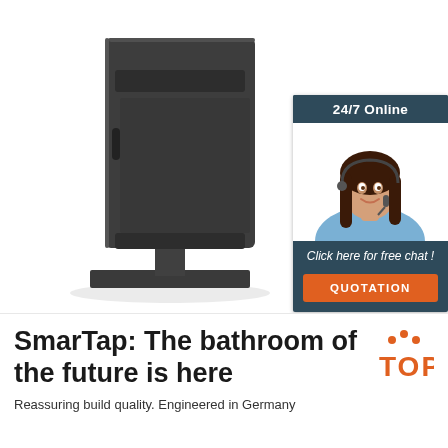[Figure (photo): 3D render of a dark gray SmarTap digital bathroom kiosk/tower unit, free-standing, with horizontal slots/vents]
[Figure (infographic): 24/7 Online chat widget showing a smiling female agent wearing headset, with 'Click here for free chat!' text and orange QUOTATION button]
SmarTap: The bathroom of the future is here
[Figure (logo): TOP logo with orange dots above and orange bold text 'TOP']
Reassuring build quality. Engineered in Germany